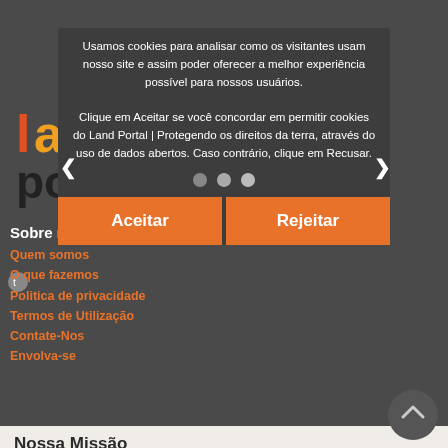Usamos cookies para analisar como os visitantes usam nosso site e assim poder oferecer a melhor experiência possível para nossos usuários.
Clique em Aceitar se você concordar em permitir cookies do Land Portal | Protegendo os direitos da terra, através do uso de dados abertos. Caso contrário, clique em Recusar.
[Figure (other): Three pagination dots (dark gray circles) for cookie banner]
Aceitar
Rejeitar
[Figure (logo): Land Portal colorful logo with letters l, a, n, d in colored segments and 'portal' text below]
Sobre nós
Quem somos
O que fazemos
Politica de privacidade
Termos de Utilização
Contate-Nos
Envolva-se
Nossa Missão
A Land Portal Foundation acredita que o acesso à informação é crucial para alcançar uma boa governança da terra e assegurar os direitos à terra para as pessoas vulneráveis. Ajudamos parceiros a criar e disseminar dados e informações sobre governança